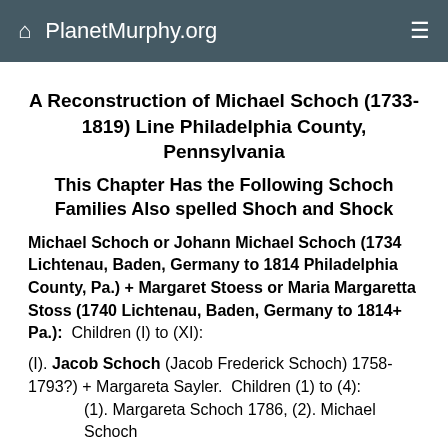PlanetMurphy.org
A Reconstruction of Michael Schoch (1733-1819) Line Philadelphia County, Pennsylvania
This Chapter Has the Following Schoch Families Also spelled Shoch and Shock
Michael Schoch or Johann Michael Schoch (1734 Lichtenau, Baden, Germany to 1814 Philadelphia County, Pa.) + Margaret Stoess or Maria Margaretta Stoss (1740 Lichtenau, Baden, Germany to 1814+ Pa.):  Children (I) to (XI):
(I). Jacob Schoch (Jacob Frederick Schoch) 1758-1793?) + Margareta Sayler.  Children (1) to (4): (1). Margareta Schoch 1786, (2). Michael Schoch 1789-1790, (3). Johannes Schoch 1793-1795, (4)